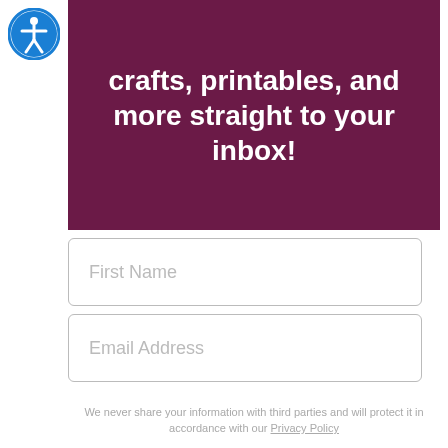[Figure (illustration): Blue circular accessibility icon with white figure in center]
crafts, printables, and more straight to your inbox!
First Name
Email Address
We will also send you emails about our products and special offers.
Get Instant Access
We never share your information with third parties and will protect it in accordance with our Privacy Policy